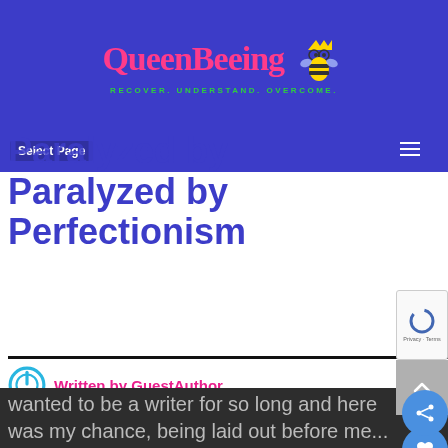[Figure (logo): QueenBeeing logo with bee character on blue/purple banner background, tagline: RECOVER. UNDERSTAND. OVERCOME.]
Select Page
Paralyzed by Perfectionism
Written by GuestAuthor
[Figure (photo): Image placeholder: perfectionist-300x225]
When Angie asked me to write for Project Blissful I have to admit, I was honored, stoked, excited and so very ready. I had wanted to be a writer for so long and here was my chance, being laid out before me...